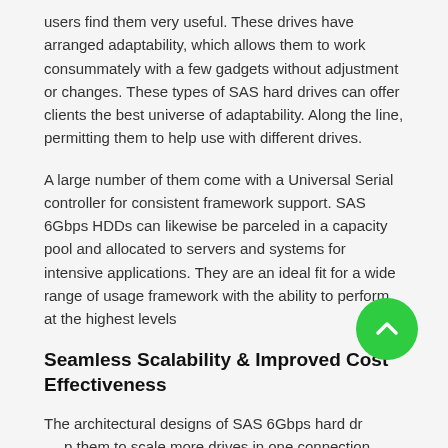users find them very useful. These drives have arranged adaptability, which allows them to work consummately with a few gadgets without adjustment or changes. These types of SAS hard drives can offer clients the best universe of adaptability. Along the line, permitting them to help use with different drives.
A large number of them come with a Universal Serial controller for consistent framework support. SAS 6Gbps HDDs can likewise be parceled in a capacity pool and allocated to servers and systems for intensive applications. They are an ideal fit for a wide range of usage framework with the ability to perform at the highest levels
Seamless Scalability & Improved Cost Effectiveness
The architectural designs of SAS 6Gbps hard drives help them to scale more drives in one connection. Thus, they provide an incredible range of storage options and cost-effective alternatives.